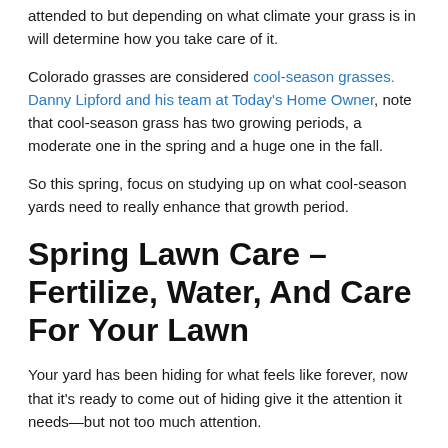attended to but depending on what climate your grass is in will determine how you take care of it.
Colorado grasses are considered cool-season grasses. Danny Lipford and his team at Today's Home Owner, note that cool-season grass has two growing periods, a moderate one in the spring and a huge one in the fall.
So this spring, focus on studying up on what cool-season yards need to really enhance that growth period.
Spring Lawn Care – Fertilize, Water, And Care For Your Lawn
Your yard has been hiding for what feels like forever, now that it's ready to come out of hiding give it the attention it needs—but not too much attention.